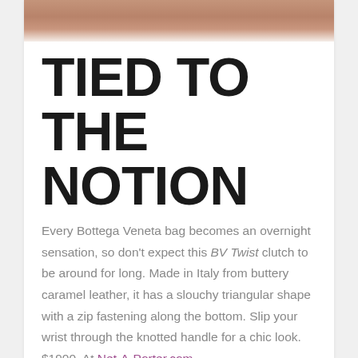[Figure (photo): Partial view of a Bottega Veneta caramel leather clutch bag at the top of the page]
TIED TO THE NOTION
Every Bottega Veneta bag becomes an overnight sensation, so don't expect this BV Twist clutch to be around for long. Made in Italy from buttery caramel leather, it has a slouchy triangular shape with a zip fastening along the bottom. Slip your wrist through the knotted handle for a chic look. $1900. At Net-A-Porter.com